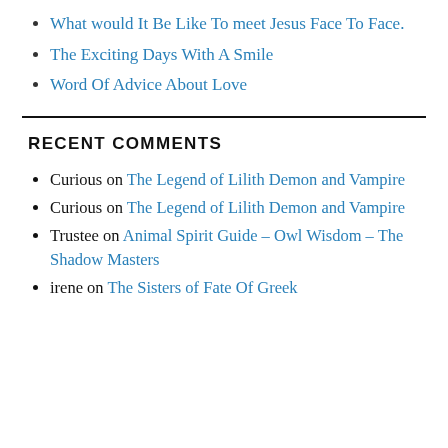What would It Be Like To meet Jesus Face To Face.
The Exciting Days With A Smile
Word Of Advice About Love
RECENT COMMENTS
Curious on The Legend of Lilith Demon and Vampire
Curious on The Legend of Lilith Demon and Vampire
Trustee on Animal Spirit Guide – Owl Wisdom – The Shadow Masters
irene on The Sisters of Fate Of Greek